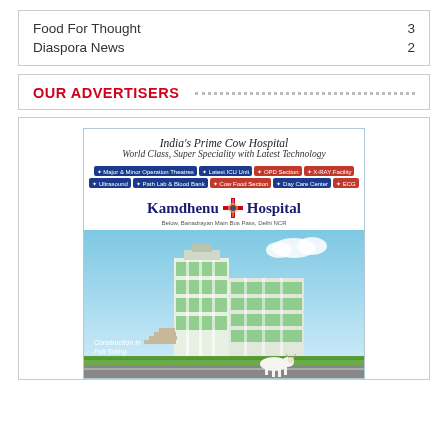Food For Thought    3
Diaspora News    2
OUR ADVERTISERS
[Figure (photo): Advertisement for Kamdhenu Hospital - India's Prime Cow Hospital. World Class, Super Speciality with Latest Technology. Features: Major & Minor Operation Theatres, Latest ICU Unit, OPD Section, X-RAY Facility, Ultrasound, Path Lab & Blood Bank, Cow Food Section, Day Care Center, ECG. Shows a multi-storey modern hospital building under construction with a cow in the foreground.]